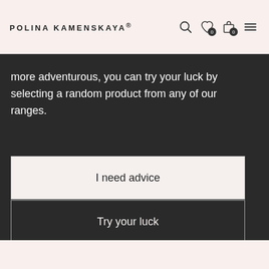POLINA KAMENSKAYA®
more adventurous, you can try your luck by selecting a random product from any of our ranges.
I need advice
Try your luck